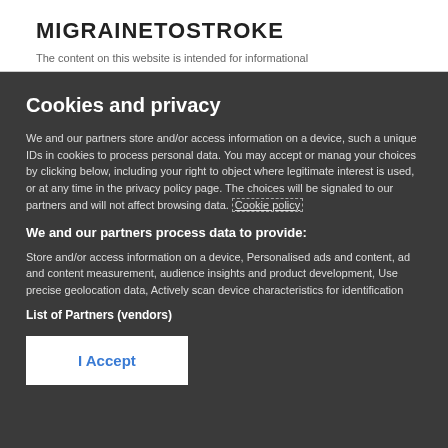MIGRAINETOSTROKE
Cookies and privacy
We and our partners store and/or access information on a device, such as unique IDs in cookies to process personal data. You may accept or manage your choices by clicking below, including your right to object where legitimate interest is used, or at any time in the privacy policy page. These choices will be signaled to our partners and will not affect browsing data. Cookie policy
We and our partners process data to provide:
Store and/or access information on a device, Personalised ads and content, ad and content measurement, audience insights and product development, Use precise geolocation data, Actively scan device characteristics for identification
List of Partners (vendors)
I Accept